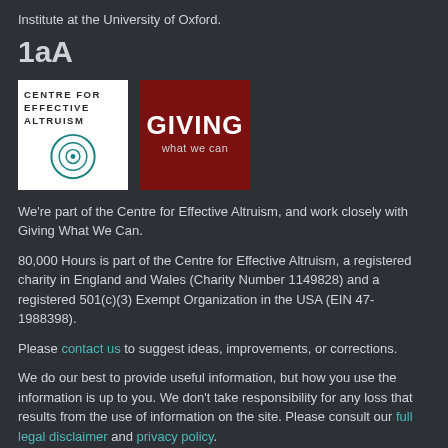Institute at the University of Oxford.
1aA
[Figure (logo): Centre for Effective Altruism logo (white background with teal concentric circles) and Giving What We Can logo (dark red background with white bold text)]
We're part of the Centre for Effective Altruism, and work closely with Giving What We Can.
80,000 Hours is part of the Centre for Effective Altruism, a registered charity in England and Wales (Charity Number 1149828) and a registered 501(c)(3) Exempt Organization in the USA (EIN 47-1988398).
Please contact us to suggest ideas, improvements, or corrections.
We do our best to provide useful information, but how you use the information is up to you. We don't take responsibility for any loss that results from the use of information on the site. Please consult our full legal disclaimer and privacy policy.
© 2021 – all rights reserved. Please contact us if you wish to redistribute, translate, or adapt this work.